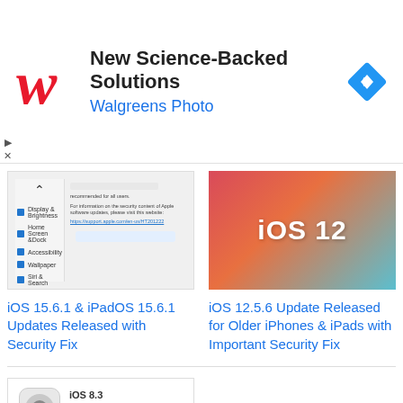[Figure (screenshot): Walgreens Photo advertisement banner with red cursive W logo, text 'New Science-Backed Solutions / Walgreens Photo', and blue diamond navigation icon on right]
[Figure (screenshot): iOS 15.6.1 settings/security screen thumbnail]
iOS 15.6.1 & iPadOS 15.6.1 Updates Released with Security Fix
[Figure (screenshot): iOS 12 colorful wallpaper with iOS 12 text overlay]
iOS 12.5.6 Update Released for Older iPhones & iPads with Important Security Fix
[Figure (screenshot): iOS 8.3 App Store update card showing iOS 8.3, Apple Inc., 285 MB, description about improved performance, bug fixes, and redesigned Emoji keyboard, with Learn More button]
iOS 8.3 Update Released with Many Fixes [IPSW Download Links]